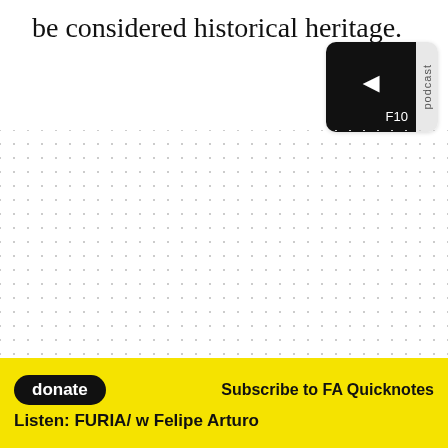be considered historical heritage.
[Figure (other): Podcast player widget with dark background, speaker/play icon, F10 label, and 'podcast' label tab on the right side]
[Figure (other): Dotted grid background pattern covering most of the page]
donate
Subscribe to FA Quicknotes
Listen: FURIA/ w Felipe Arturo